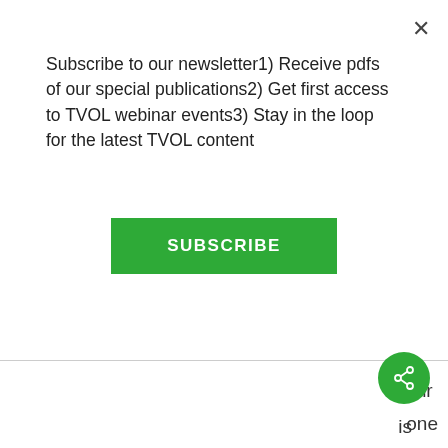Subscribe to our newsletter1) Receive pdfs of our special publications2) Get first access to TVOL webinar events3) Stay in the loop for the latest TVOL content
[Figure (other): Green SUBSCRIBE button]
thir one of the ma
[Figure (other): Green circular share button with share icon]
is